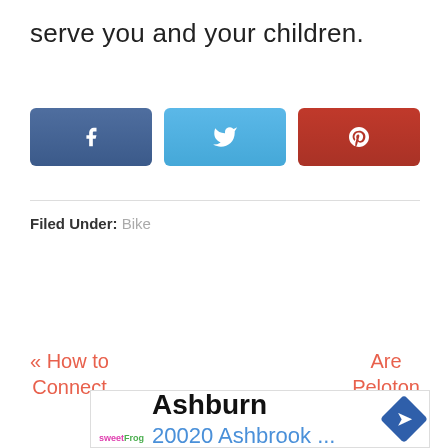serve you and your children.
[Figure (other): Social share buttons: Facebook (blue), Twitter (light blue), Pinterest (red)]
Filed Under: Bike
« How to Connect
Are Peloton
[Figure (other): Advertisement: Ashburn 20020 Ashbrook ... with SweetFrog logo and navigation arrow icon]